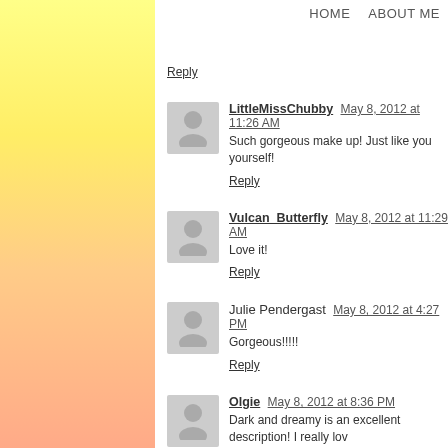HOME   ABOUT ME
Reply
LittleMissChubby  May 8, 2012 at 11:26 AM
Such gorgeous make up! Just like you yourself!
Reply
Vulcan_Butterfly  May 8, 2012 at 11:29 AM
Love it!
Reply
Julie Pendergast  May 8, 2012 at 4:27 PM
Gorgeous!!!!!
Reply
Olgie  May 8, 2012 at 8:36 PM
Dark and dreamy is an excellent description! I really lov
Reply